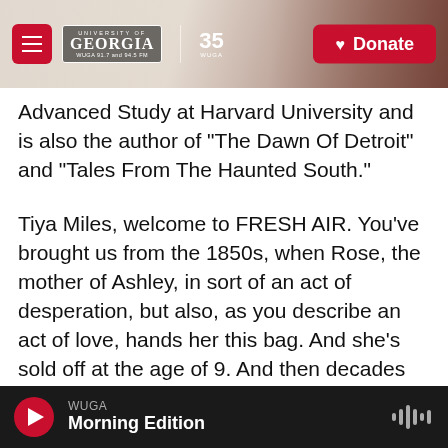University of Georgia WUGA 91.7 and 94.5 FM | 35 WUGA | Donate
Advanced Study at Harvard University and is also the author of "The Dawn Of Detroit" and "Tales From The Haunted South."
Tiya Miles, welcome to FRESH AIR. You've brought us from the 1850s, when Rose, the mother of Ashley, in sort of an act of desperation, but also, as you describe an act of love, hands her this bag. And she's sold off at the age of 9. And then decades later, her own granddaughter - Ashley's granddaughter, Ruth, Ruth Middleton, decides to inscribe this tale upon the cloth, to embroider in a few sentences the story of her family. What is it
WUGA Morning Edition